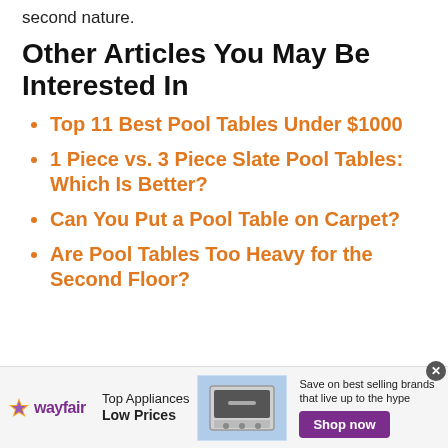second nature.
Other Articles You May Be Interested In
Top 11 Best Pool Tables Under $1000
1 Piece vs. 3 Piece Slate Pool Tables: Which Is Better?
Can You Put a Pool Table on Carpet?
Are Pool Tables Too Heavy for the Second Floor?
[Figure (infographic): Wayfair advertisement banner: logo, 'Top Appliances Low Prices', appliance image, 'Save on best selling brands that live up to the hype', purple 'Shop now' button]